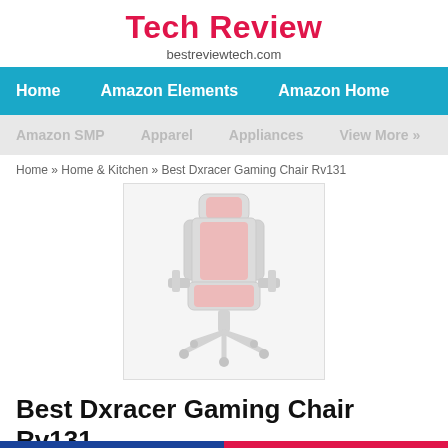Tech Review
bestreviewtech.com
Home   Amazon Elements   Amazon Home
Amazon SMP   Apparel   Appliances   View More »
Home » Home & Kitchen » Best Dxracer Gaming Chair Rv131
[Figure (photo): A DXRacer gaming chair with red and black color scheme, viewed from the front, shown as a faded/watermarked product image]
Best Dxracer Gaming Chair Rv131